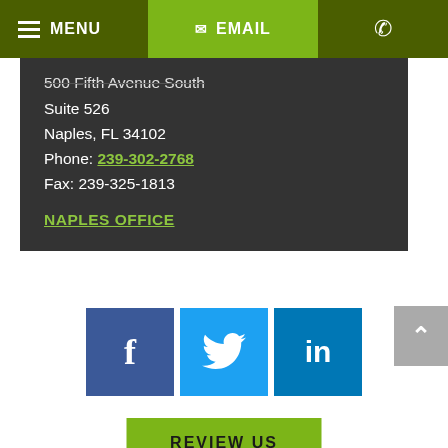MENU | EMAIL | (phone icon)
500 Fifth Avenue South
Suite 526
Naples, FL 34102
Phone: 239-302-2768
Fax: 239-325-1813
NAPLES OFFICE
[Figure (infographic): Three social media icon buttons: Facebook (f), Twitter (bird), LinkedIn (in)]
[Figure (infographic): Green REVIEW US button]